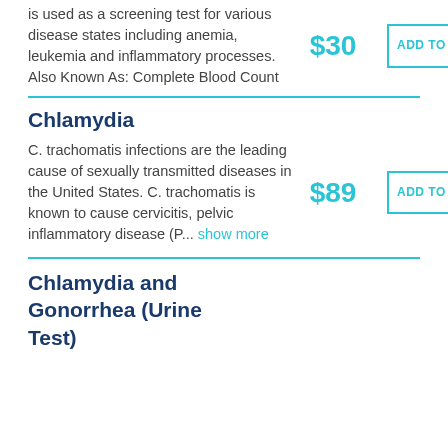is used as a screening test for various disease states including anemia, leukemia and inflammatory processes. Also Known As: Complete Blood Count
$30
ADD TO CART
Chlamydia
C. trachomatis infections are the leading cause of sexually transmitted diseases in the United States. C. trachomatis is known to cause cervicitis, pelvic inflammatory disease (P... show more
$89
ADD TO CART
Chlamydia and Gonorrhea (Urine Test)